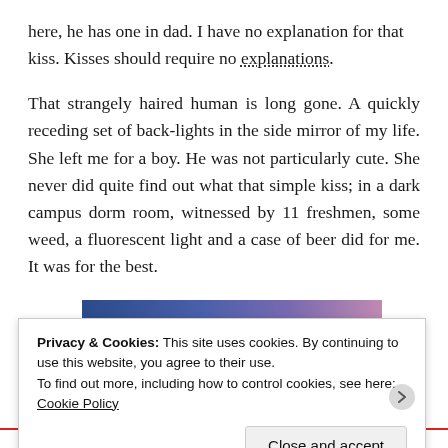here, he has one in dad. I have no explanation for that kiss. Kisses should require no explanations.
That strangely haired human is long gone. A quickly receding set of back-lights in the side mirror of my life. She left me for a boy. He was not particularly cute. She never did quite find out what that simple kiss; in a dark campus dorm room, witnessed by 11 freshmen, some weed, a fluorescent light and a case of beer did for me. It was for the best.
[Figure (illustration): A gradient image transitioning from dark blue on the left to lavender/purple-pink on the right, with a circular play button overlay at the bottom-left.]
Privacy & Cookies: This site uses cookies. By continuing to use this website, you agree to their use. To find out more, including how to control cookies, see here: Cookie Policy
ELLIPUIT TRA...